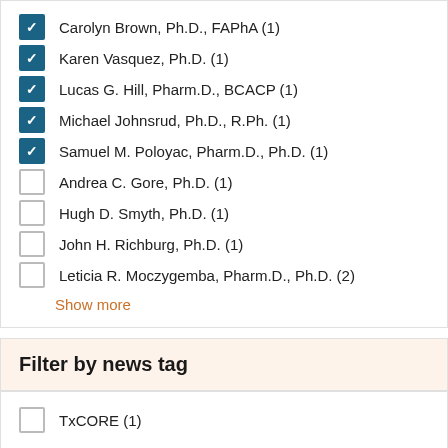Carolyn Brown, Ph.D., FAPhA (1)
Karen Vasquez, Ph.D. (1)
Lucas G. Hill, Pharm.D., BCACP (1)
Michael Johnsrud, Ph.D., R.Ph. (1)
Samuel M. Poloyac, Pharm.D., Ph.D. (1)
Andrea C. Gore, Ph.D. (1)
Hugh D. Smyth, Ph.D. (1)
John H. Richburg, Ph.D. (1)
Leticia R. Moczygemba, Pharm.D., Ph.D. (2)
Show more
Filter by news tag
TxCORE (1)